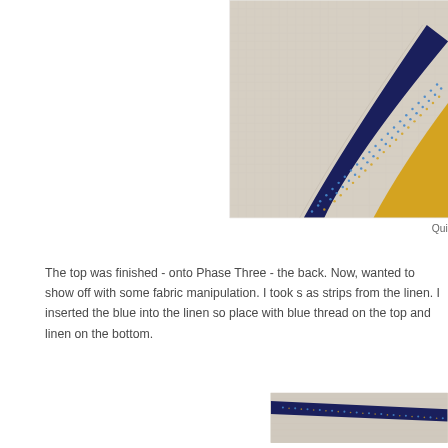[Figure (photo): Close-up photo of quilt fabric showing linen background with a curved diagonal strip of dark blue dotted/patterned fabric and yellow fabric underneath, showing fabric manipulation technique.]
Qui
The top was finished - onto Phase Three - the back. Now, wanted to show off with some fabric manipulation. I took s as strips from the linen. I inserted the blue into the linen so place with blue thread on the top and linen on the bottom.
[Figure (photo): Close-up photo of linen fabric with a dark blue dotted/patterned fabric strip inserted diagonally into the linen, showing the fabric manipulation technique from a different angle.]